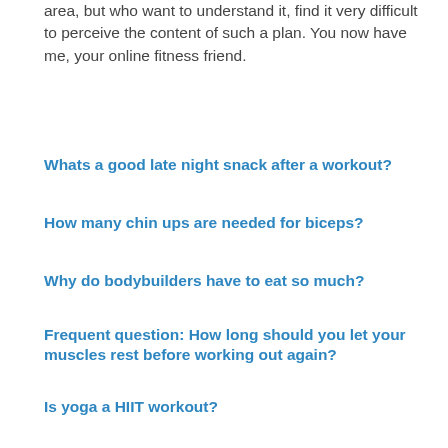area, but who want to understand it, find it very difficult to perceive the content of such a plan. You now have me, your online fitness friend.
Whats a good late night snack after a workout?
How many chin ups are needed for biceps?
Why do bodybuilders have to eat so much?
Frequent question: How long should you let your muscles rest before working out again?
Is yoga a HIIT workout?
Frequent question: What is the chief in CrossFit?
How should you dress for gym?